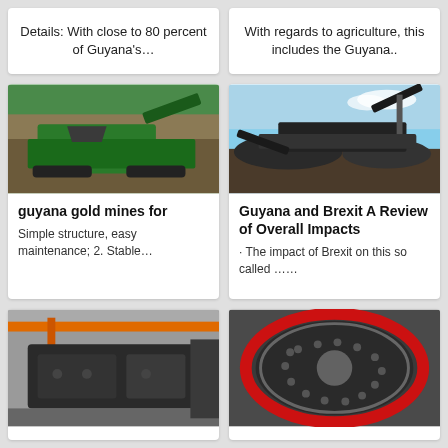Details: With close to 80 percent of Guyana's…
With regards to agriculture, this includes the Guyana..
[Figure (photo): Green mining/crushing equipment on gravel site with trees in background]
[Figure (photo): Dark mining/crushing equipment and conveyor belts with blue sky]
guyana gold mines for
Simple structure, easy maintenance; 2. Stable…
Guyana and Brexit A Review of Overall Impacts
· The impact of Brexit on this so called ……
[Figure (photo): Industrial factory interior with orange crane and heavy machinery]
[Figure (photo): Close-up of cylindrical industrial equipment with circular hole pattern and red ring]